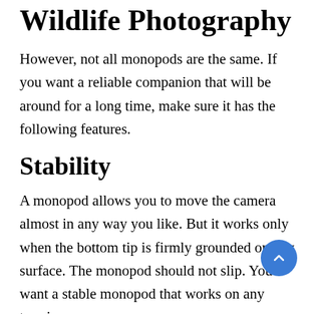Wildlife Photography
However, not all monopods are the same. If you want a reliable companion that will be around for a long time, make sure it has the following features.
Stability
A monopod allows you to move the camera almost in any way you like. But it works only when the bottom tip is firmly grounded on any surface. The monopod should not slip. You want a stable monopod that works on any terrain.
Maximum Load Capacity